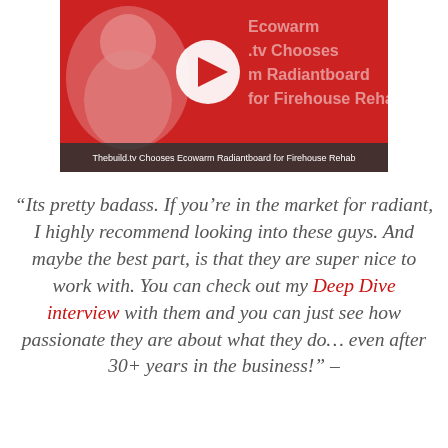[Figure (screenshot): Video thumbnail showing a man on a red background with a play button icon and partially visible text 'Ecowarm .tv Chooses m Radiantboard for Firehouse Rehab', with a dark caption bar reading 'Thebuild.tv Chooses Ecowarm Radiantboard for Firehouse Rehab']
“Its pretty badass. If you’re in the market for radiant, I highly recommend looking into these guys. And maybe the best part, is that they are super nice to work with. You can check out my Deep Dive interview with them and you can just see how passionate they are about what they do… even after 30+ years in the business!” –